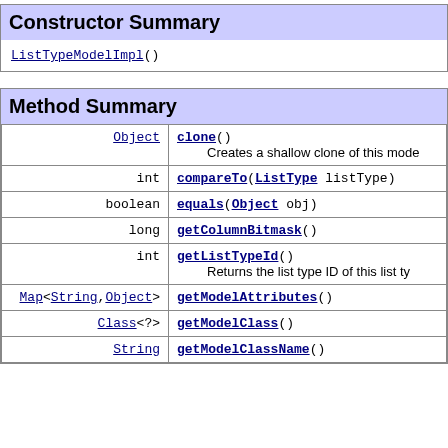| Constructor Summary |
| --- |
| ListTypeModelImpl() |
| Method Summary |
| --- |
| Object | clone()
        Creates a shallow clone of this mode |
| int | compareTo(ListType listType) |
| boolean | equals(Object obj) |
| long | getColumnBitmask() |
| int | getListTypeId()
        Returns the list type ID of this list ty |
| Map<String,Object> | getModelAttributes() |
| Class<?> | getModelClass() |
| String | getModelClassName() |